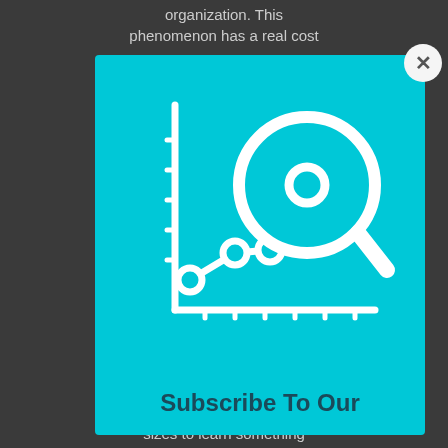organization. This phenomenon has a real cost
[Figure (illustration): Line chart icon with a magnifying glass overlay on a cyan/turquoise background, representing data analytics or research. The chart shows a line with circular data points trending upward, with a large magnifying glass examining the top data point.]
Subscribe To Our
sizes to learn something